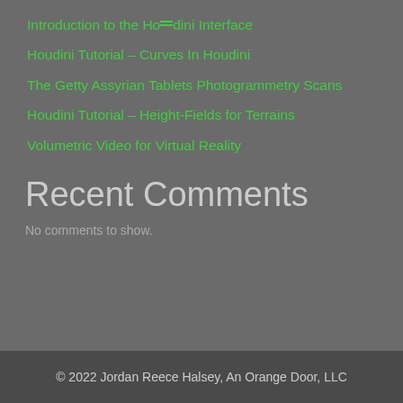Introduction to the Houdini Interface
Houdini Tutorial – Curves In Houdini
The Getty Assyrian Tablets Photogrammetry Scans
Houdini Tutorial – Height-Fields for Terrains
Volumetric Video for Virtual Reality
Recent Comments
No comments to show.
© 2022 Jordan Reece Halsey, An Orange Door, LLC